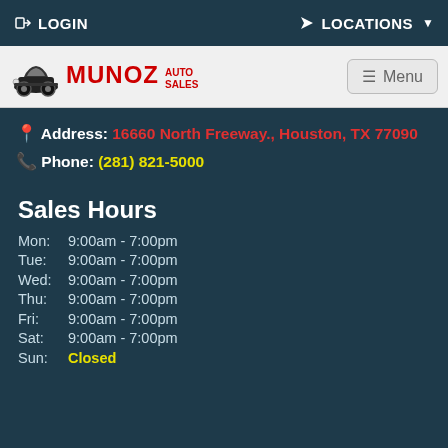LOGIN | LOCATIONS
[Figure (logo): Munoz Auto Sales logo with vintage car illustration]
Address: 16660 North Freeway., Houston, TX 77090
Phone: (281) 821-5000
Sales Hours
Mon: 9:00am - 7:00pm
Tue: 9:00am - 7:00pm
Wed: 9:00am - 7:00pm
Thu: 9:00am - 7:00pm
Fri: 9:00am - 7:00pm
Sat: 9:00am - 7:00pm
Sun: Closed